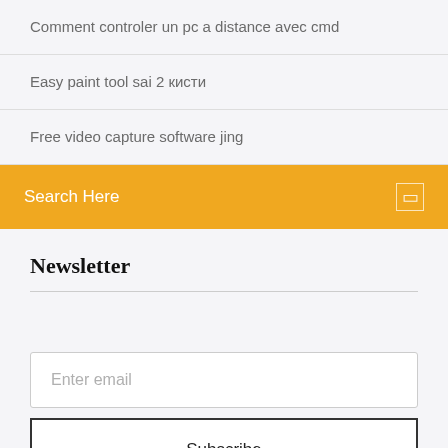Comment controler un pc a distance avec cmd
Easy paint tool sai 2 кисти
Free video capture software jing
Search Here
Newsletter
Enter email
Subscribe